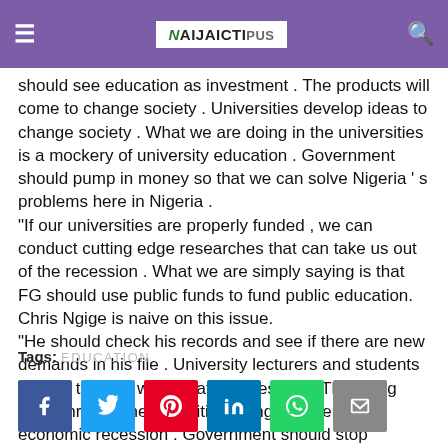Naijactipus
should see education as investment . The products will come to change society . Universities develop ideas to change society . What we are doing in the universities is a mockery of university education . Government should pump in money so that we can solve Nigeria ' s problems here in Nigeria . “If our universities are properly funded , we can conduct cutting edge researches that can take us out of the recession . What we are simply saying is that FG should use public funds to fund public education. Chris Ngige is naive on this issue.
“He should check his records and see if there are new demands in his file . University lecturers and students are not the one who created recession . The ruling class through their activities plunged Nigeria into economic recession . Government should stop establishing new universities if they cannot fund existing ones. Universities are not constituency project, " Omole said .
Tags: EDUCATION